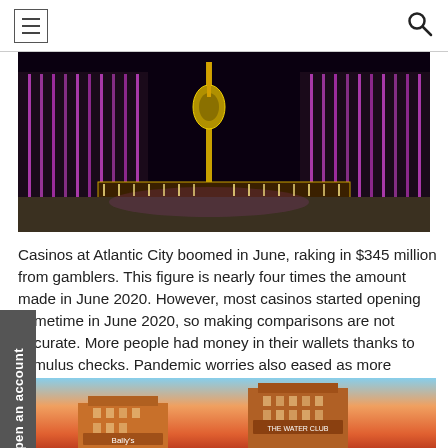Navigation bar with hamburger menu and search icon
[Figure (photo): Hard Rock Hotel & Casino Atlantic City exterior at night, with purple LED lighting illuminating the building facade and a large guitar sculpture visible in the center background.]
Casinos at Atlantic City boomed in June, raking in $345 million from gamblers. This figure is nearly four times the amount made in June 2020. However, most casinos started opening sometime in June 2020, so making comparisons are not accurate. More people had money in their wallets thanks to stimulus checks. Pandemic worries also eased as more people got the COVID vaccine.
[Figure (photo): Bally's and The Water Club casino hotels in Atlantic City at dusk with a colorful sky.]